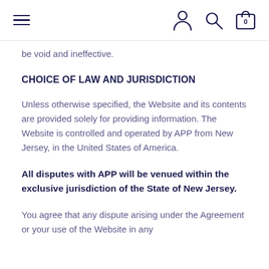≡  [user icon] [search icon] [cart icon 0]
be void and ineffective.
CHOICE OF LAW AND JURISDICTION
Unless otherwise specified, the Website and its contents are provided solely for providing information. The Website is controlled and operated by APP from New Jersey, in the United States of America.
All disputes with APP will be venued within the exclusive jurisdiction of the State of New Jersey.
You agree that any dispute arising under the Agreement or your use of the Website in any